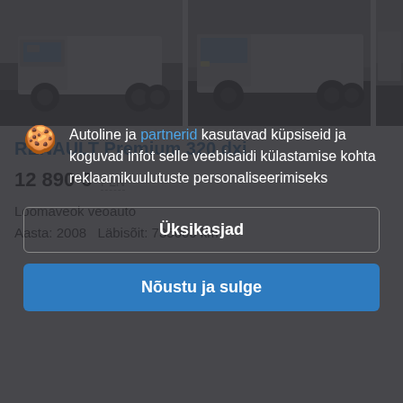[Figure (photo): Two truck photos side by side (Renault Premium trucks), white trucks in outdoor settings]
RENAULT Premium 320 dxi
12 890 €  PLN
Loomaveok veoauto
Aasta: 2008   Läbisõit: 735000 km
Autoline ja partnerid kasutavad küpsiseid ja koguvad infot selle veebisaidi külastamise kohta reklaamikuulutuste personaliseerimiseks
Üksikasjad
Nõustu ja sulge